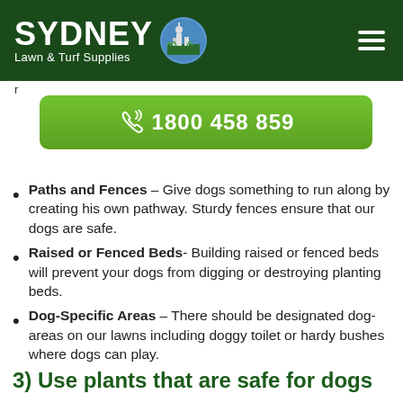SYDNEY Lawn & Turf Supplies
r... w...
[Figure (other): Green phone button with phone icon and number 1800 458 859]
Paths and Fences – Give dogs something to run along by creating his own pathway. Sturdy fences ensure that our dogs are safe.
Raised or Fenced Beds- Building raised or fenced beds will prevent your dogs from digging or destroying planting beds.
Dog-Specific Areas – There should be designated dog-areas on our lawns including doggy toilet or hardy bushes where dogs can play.
3) Use plants that are safe for dogs